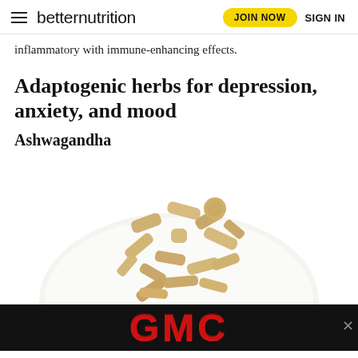betternutrition | JOIN NOW | SIGN IN
inflammatory with immune-enhancing effects.
Adaptogenic herbs for depression, anxiety, and mood
Ashwagandha
[Figure (photo): A white plate with dried ashwagandha root pieces piled on top, photographed from above on a white background.]
[Figure (other): GMC advertisement banner with large red GMC text on a black background with a close button.]